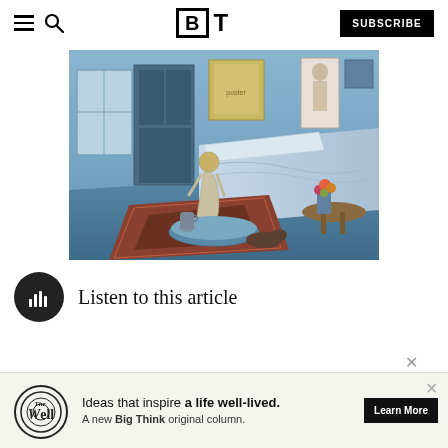BT — Big Think — SUBSCRIBE
[Figure (illustration): Picasso Blue Period painting 'The Blue Room' showing a nude figure bathing in a tub in a blue-toned bedroom interior]
Listen to this article
[Figure (infographic): Advertisement banner for 'The Well' — a Big Think original column. Text: Ideas that inspire a life well-lived. A new Big Think original column. Learn More button.]